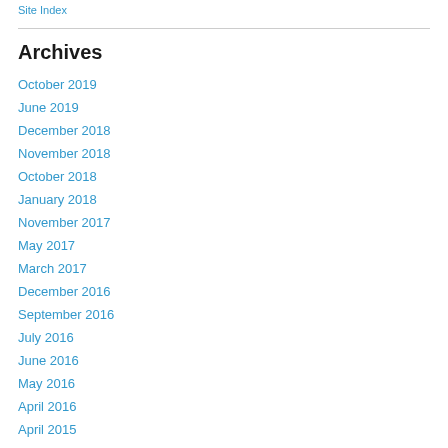Site Index
Archives
October 2019
June 2019
December 2018
November 2018
October 2018
January 2018
November 2017
May 2017
March 2017
December 2016
September 2016
July 2016
June 2016
May 2016
April 2016
April 2015